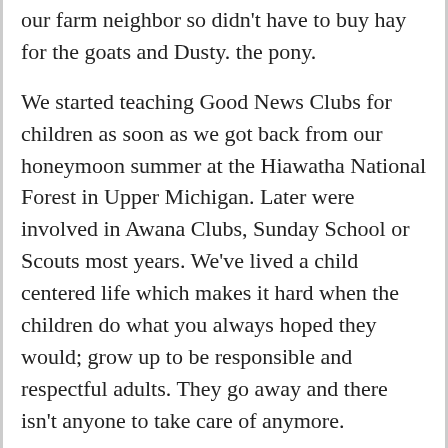our farm neighbor so didn't have to buy hay for the goats and Dusty. the pony.
We started teaching Good News Clubs for children as soon as we got back from our honeymoon summer at the Hiawatha National Forest in Upper Michigan. Later were involved in Awana Clubs, Sunday School or Scouts most years. We've lived a child centered life which makes it hard when the children do what you always hoped they would; grow up to be responsible and respectful adults. They go away and there isn't anyone to take care of anymore.
There is a great deal of talk today about marrying for “love,” but that is rather a new practice in human existence. Even in a great many places in the world today, marriages are arranged by parents or elders of a community, and are based not on some emotional or physical attraction, but on the raising of children and prospering of the family. We have no idea of Eve